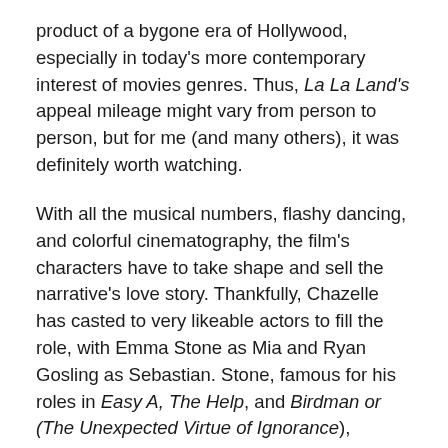product of a bygone era of Hollywood, especially in today's more contemporary interest of movies genres. Thus, La La Land's appeal mileage might vary from person to person, but for me (and many others), it was definitely worth watching.
With all the musical numbers, flashy dancing, and colorful cinematography, the film's characters have to take shape and sell the narrative's love story. Thankfully, Chazelle has casted to very likeable actors to fill the role, with Emma Stone as Mia and Ryan Gosling as Sebastian. Stone, famous for his roles in Easy A, The Help, and Birdman or (The Unexpected Virtue of Ignorance), delivers a standout performance of the two; giving her character of Mia an emotionally rich persona of a aspiring actress in Hollywood that's full of witty charm and youthful vulnerability. As for Gosling, known for his roles in Drive, The Big Short, and The Notebook